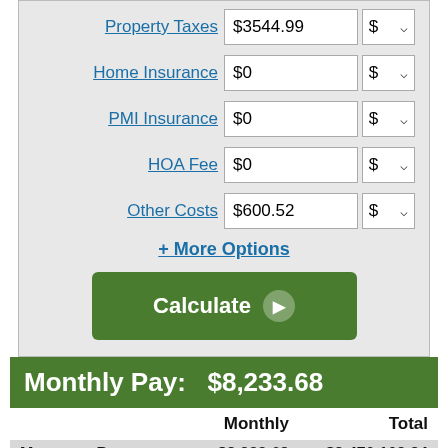|  | Monthly | Total |
| --- | --- | --- |
| Mortgage Payment | $8,233.68 | $2,470,102.84 |
| Property Tax | $295.42 | $88,624.75 |
| Other Costs | $50.04 | $15,012.00 |
Monthly Pay: $8,233.68
+ More Options
Calculate